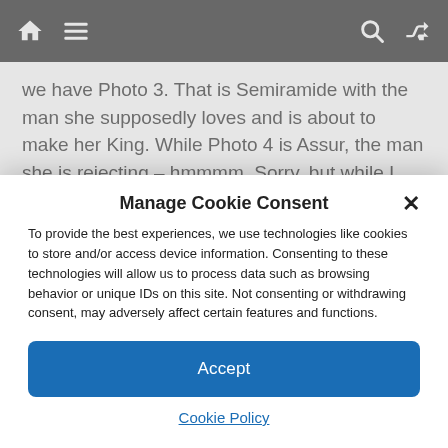[Navigation bar with home icon, menu icon, search icon, shuffle icon]
we have Photo 3. That is Semiramide with the man she supposedly loves and is about to make her King. While Photo 4 is Assur, the man she is rejecting – hmmmm. Sorry, but while I mostly agree with the Met’s favorite slogan “It’s the Voice,” – because that is what is truly moving, the very
Manage Cookie Consent
To provide the best experiences, we use technologies like cookies to store and/or access device information. Consenting to these technologies will allow us to process data such as browsing behavior or unique IDs on this site. Not consenting or withdrawing consent, may adversely affect certain features and functions.
Accept
Cookie Policy